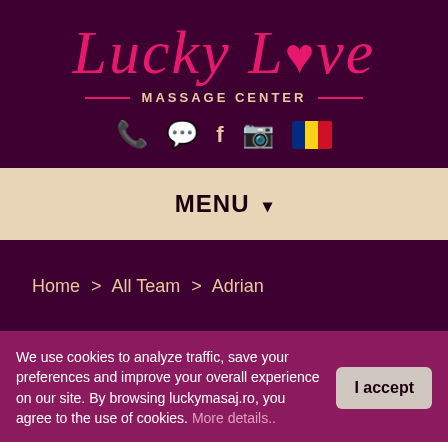[Figure (logo): Lucky Love Massage Center logo with pink cursive script on dark purple background, with heart symbol replacing 'o' in Love]
MASSAGE CENTER
[Figure (infographic): Social media icons: phone, WhatsApp, Facebook, Instagram, and Romanian flag]
MENU ▾
Home > All Team > Adrian
We use cookies to analyze traffic, save your preferences and improve your overall experience on our site. By browsing luckymasaj.ro, you agree to the use of cookies. More details..